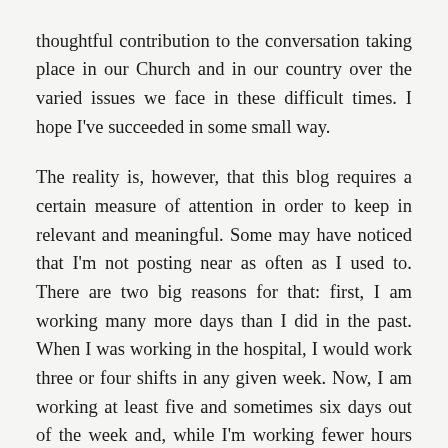thoughtful contribution to the conversation taking place in our Church and in our country over the varied issues we face in these difficult times. I hope I've succeeded in some small way.

The reality is, however, that this blog requires a certain measure of attention in order to keep in relevant and meaningful. Some may have noticed that I'm not posting near as often as I used to. There are two big reasons for that: first, I am working many more days than I did in the past. When I was working in the hospital, I would work three or four shifts in any given week. Now, I am working at least five and sometimes six days out of the week and, while I'm working fewer hours each shift, the weight of working so many consecutive days in any given week takes its